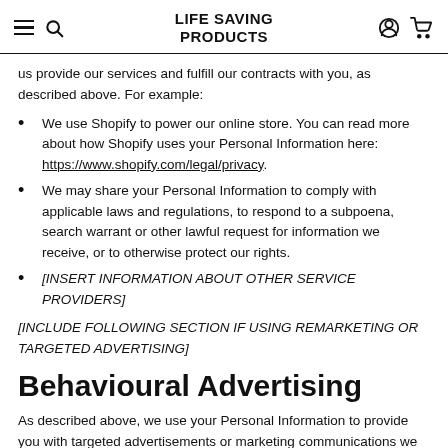LIFE SAVING PRODUCTS
us provide our services and fulfill our contracts with you, as described above. For example:
We use Shopify to power our online store. You can read more about how Shopify uses your Personal Information here: https://www.shopify.com/legal/privacy.
We may share your Personal Information to comply with applicable laws and regulations, to respond to a subpoena, search warrant or other lawful request for information we receive, or to otherwise protect our rights.
[INSERT INFORMATION ABOUT OTHER SERVICE PROVIDERS]
[INCLUDE FOLLOWING SECTION IF USING REMARKETING OR TARGETED ADVERTISING]
Behavioural Advertising
As described above, we use your Personal Information to provide you with targeted advertisements or marketing communications we believe may be of interest to you. For example: